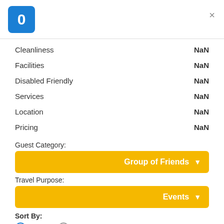[Figure (screenshot): Blue rounded square with white '0' numeral]
×
Cleanliness   NaN
Facilities   NaN
Disabled Friendly   NaN
Services   NaN
Location   NaN
Pricing   NaN
Guest Category:
Group of Friends ▼
Travel Purpose:
Events ▼
Sort By:
● Rating  ○ Date
Previous  1  Next
Showing 1 - 0 out of 0 results